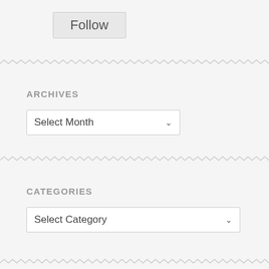Follow
ARCHIVES
Select Month
CATEGORIES
Select Category